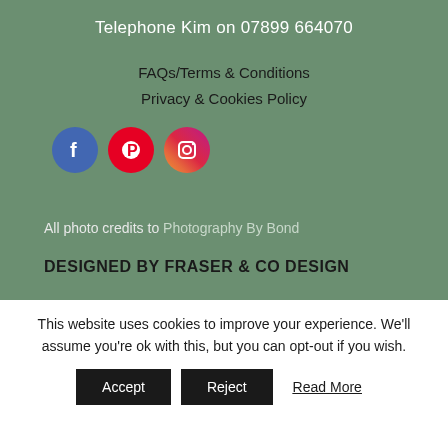Telephone Kim on 07899 664070
FAQs/Terms & Conditions
Privacy & Cookies Policy
[Figure (illustration): Three social media icons: Facebook (blue circle with f), Pinterest (red circle with P), Instagram (gradient circle with camera icon)]
All photo credits to Photography By Bond
DESIGNED BY FRASER & CO DESIGN
This website uses cookies to improve your experience. We'll assume you're ok with this, but you can opt-out if you wish.
Accept | Reject | Read More